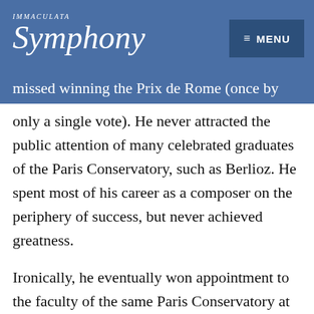Immaculata Symphony | MENU
missed winning the Prix de Rome (once by only a single vote). He never attracted the public attention of many celebrated graduates of the Paris Conservatory, such as Berlioz. He spent most of his career as a composer on the periphery of success, but never achieved greatness.
Ironically, he eventually won appointment to the faculty of the same Paris Conservatory at which he had studied. He taught theory and composition, and